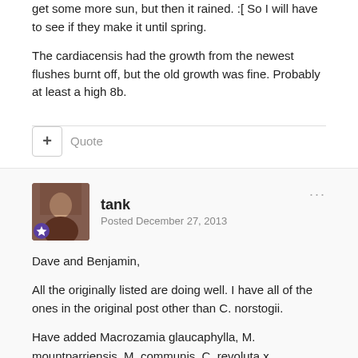get some more sun, but then it rained. :[ So I will have to see if they make it until spring.
The cardiacensis had the growth from the newest flushes burnt off, but the old growth was fine. Probably at least a high 8b.
Quote
tank
Posted December 27, 2013
Dave and Benjamin,
All the originally listed are doing well. I have all of the ones in the original post other than C. norstogii.
Have added Macrozamia glaucaphylla, M. mountparriensis, M. communis, C. revoluta x debaoensis, C. debaoensis, C. revoluta x furfaracea and an unknown parazamia. All have seen temps around 20F and have done well. The C. debaoensis is planted near the house under canopy.